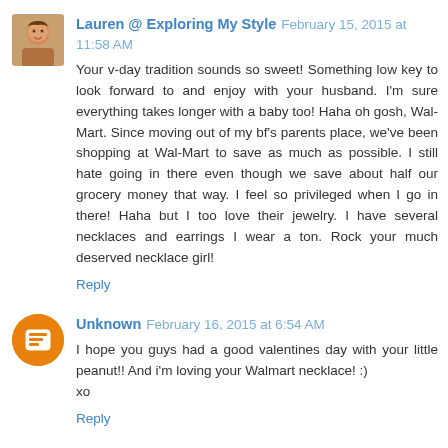Lauren @ Exploring My Style February 15, 2015 at 11:58 AM
Your v-day tradition sounds so sweet! Something low key to look forward to and enjoy with your husband. I'm sure everything takes longer with a baby too! Haha oh gosh, Wal-Mart. Since moving out of my bf's parents place, we've been shopping at Wal-Mart to save as much as possible. I still hate going in there even though we save about half our grocery money that way. I feel so privileged when I go in there! Haha but I too love their jewelry. I have several necklaces and earrings I wear a ton. Rock your much deserved necklace girl!
Reply
Unknown February 16, 2015 at 6:54 AM
I hope you guys had a good valentines day with your little peanut!! And i'm loving your Walmart necklace! :)
xo
Reply